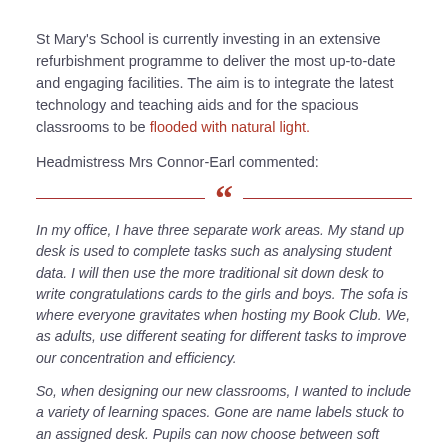St Mary's School is currently investing in an extensive refurbishment programme to deliver the most up-to-date and engaging facilities. The aim is to integrate the latest technology and teaching aids and for the spacious classrooms to be flooded with natural light.
Headmistress Mrs Connor-Earl commented:
In my office, I have three separate work areas. My stand up desk is used to complete tasks such as analysing student data. I will then use the more traditional sit down desk to write congratulations cards to the girls and boys. The sofa is where everyone gravitates when hosting my Book Club. We, as adults, use different seating for different tasks to improve our concentration and efficiency.
So, when designing our new classrooms, I wanted to include a variety of learning spaces. Gone are name labels stuck to an assigned desk. Pupils can now choose between soft staged seating, a stand up desk or a collaborative working pod. All the